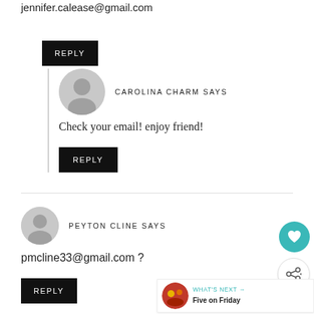jennifer.calease@gmail.com
REPLY
CAROLINA CHARM SAYS
Check your email! enjoy friend!
REPLY
PEYTON CLINE SAYS
pmcline33@gmail.com ?
REPLY
WHAT'S NEXT → Five on Friday